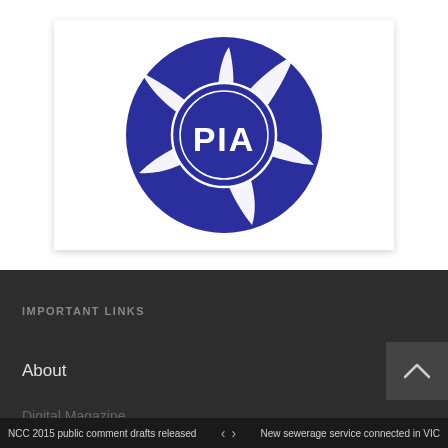[Figure (logo): PIA logo — dark blue circle with white swirling blade/propeller shapes and a smaller inner circle, with 'PIA' text in white bold letters in the center]
IMPORTANT LINKS
About
Digital Magazine
NCC 2015 public comment drafts released   <   >   New sewerage service connected in VIC